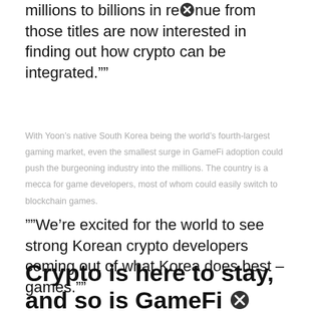millions to billions in revenue from those titles are now interested in finding out how crypto can be integrated.""
With Yoon's native South Korea being the world's fourth-largest gaming market, even the smallest surge in GameFi adoption could push the burgeoning industry into the millions. The country is a mecca for game developers, most of whom could easily switch to blockchain games.
""We're excited for the world to see strong Korean crypto developers coming out of what Korea does best – games.""
Crypto is here to stay, and so is GameFi